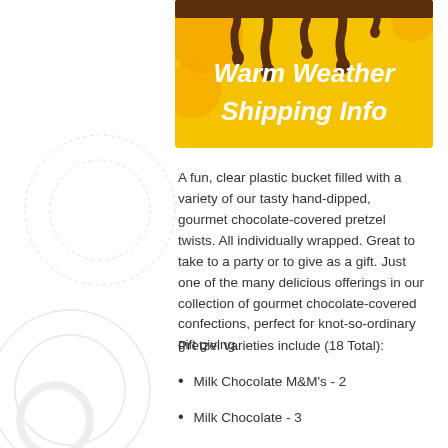[Figure (illustration): Warm Weather Shipping Info banner with chocolate dripping over yellow background with orange circles]
A fun, clear plastic bucket filled with a variety of our tasty hand-dipped, gourmet chocolate-covered pretzel twists. All individually wrapped. Great to take to a party or to give as a gift. Just one of the many delicious offerings in our collection of gourmet chocolate-covered confections, perfect for knot-so-ordinary gift giving.
Pretzel varieties include (18 Total):
Milk Chocolate M&M's - 2
Milk Chocolate - 3